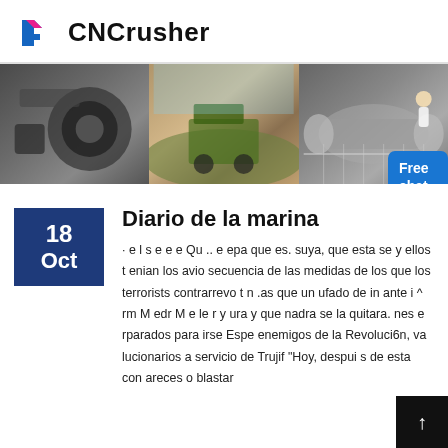CNCrusher
[Figure (photo): Banner with three industrial/mining images: a motor/wheel machinery, a quarry with green equipment, and a cylindrical industrial machine with a person in a white coat.]
Free chat
18
Oct
Diario de la marina
· e l s e e e Qu .. e epa que es. suya, que esta se y ellos t enian los avio secuencia de las medidas de los que los terrorists contrarrevo t n .as que un ufado de in ante i ^ rm M edr M e le r y ura y que nadra se la quitara. nes e rparados para irse Espe enemigos de la Revoluci6n, va lucionarios a servicio de Trujif "Hoy, despui s de esta con areces o blastar